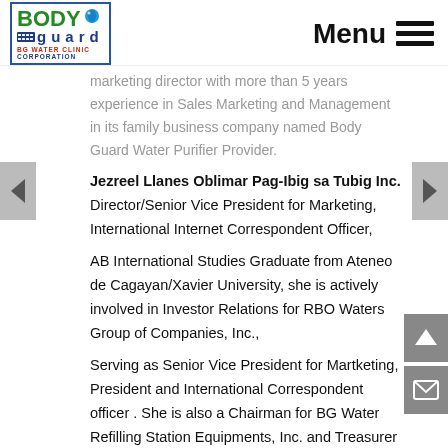Bodyguard BG Water Corp — Menu
marketing director with more than 5 years experience in Sales Marketing and Management in its family business company named Body Guard Water Purifier Provider.
Jezreel Llanes Oblimar Pag-Ibig sa Tubig Inc. Director/Senior Vice President for Marketing, International Internet Correspondent Officer,
AB International Studies Graduate from Ateneo de Cagayan/Xavier University, she is actively involved in Investor Relations for RBO Waters Group of Companies, Inc.,
Serving as Senior Vice President for Martketing, President and International Correspondent officer . She is also a Chairman for BG Water Refilling Station Equipments, Inc. and Treasurer for RBO Water Investments Corp., and Director for BG Water Refilling Station Stores.